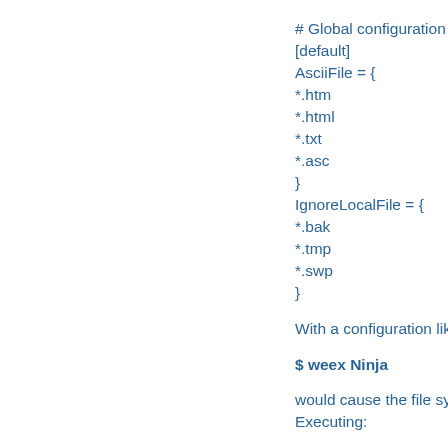# Global configuration
[default]
AsciiFile = {
*.htm
*.html
*.txt
*.asc
}
IgnoreLocalFile = {
*.bak
*.tmp
*.swp
}
With a configuration like
$ weex Ninja
would cause the file sys... Executing:
$ weex ninja veggie
would cause the FTP u...